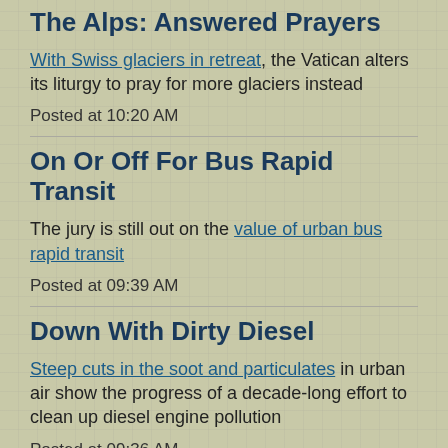The Alps: Answered Prayers
With Swiss glaciers in retreat, the Vatican alters its liturgy to pray for more glaciers instead
Posted at 10:20 AM
On Or Off For Bus Rapid Transit
The jury is still out on the value of urban bus rapid transit
Posted at 09:39 AM
Down With Dirty Diesel
Steep cuts in the soot and particulates in urban air show the progress of a decade-long effort to clean up diesel engine pollution
Posted at 09:36 AM
August 13, 2012
The Fracking Fight: Round X